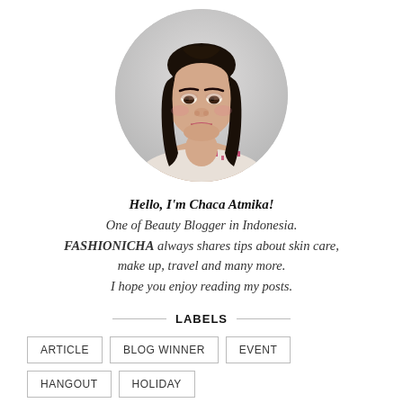[Figure (photo): Circular profile photo of Chaca Atmika, a young woman with long dark hair, light makeup, wearing a patterned floral top, on a light grey background.]
Hello, I'm Chaca Atmika!
One of Beauty Blogger in Indonesia.
FASHIONICHA always shares tips about skin care, make up, travel and many more.
I hope you enjoy reading my posts.
LABELS
ARTICLE
BLOG WINNER
EVENT
HANGOUT
HOLIDAY